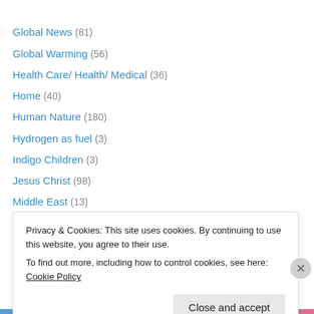Global News (81)
Global Warming (56)
Health Care/ Health/ Medical (36)
Home (40)
Human Nature (180)
Hydrogen as fuel (3)
Indigo Children (3)
Jesus Christ (98)
Middle East (13)
My Presentations (5)
New Energy Source (6)
North Korea (8)
Papalcy (6)
Privacy & Cookies: This site uses cookies. By continuing to use this website, you agree to their use.
To find out more, including how to control cookies, see here: Cookie Policy
Close and accept